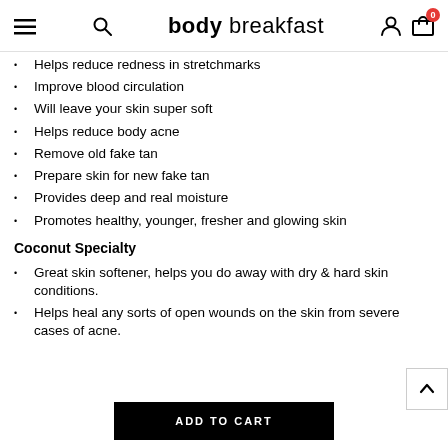body breakfast — navigation header
Helps reduce redness in stretchmarks
Improve blood circulation
Will leave your skin super soft
Helps reduce body acne
Remove old fake tan
Prepare skin for new fake tan
Provides deep and real moisture
Promotes healthy, younger, fresher and glowing skin
Coconut Specialty
Great skin softener, helps you do away with dry & hard skin conditions.
Helps heal any sorts of open wounds on the skin from severe cases of acne.
ADD TO CART